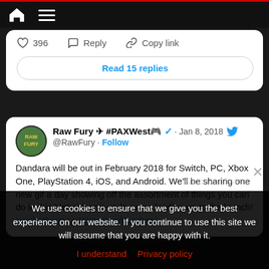Navigation bar with home and menu icons
♡ 396  Reply  Copy link
Read 15 replies
Raw Fury ✈ #PAXWest🎮 ✓ · Jan 8, 2018
@RawFury · Follow
Dandara will be out in February 2018 for Switch, PC, Xbox One, PlayStation 4, iOS, and Android. We'll be sharing one new gif a day showing off the assortment of things you can do in this Metroidvania-style game leading up to the launch!
longhathouse.com/games/dandara/
We use cookies to ensure that we give you the best experience on our website. If you continue to use this site we will assume that you are happy with it.
I understand   Privacy policy